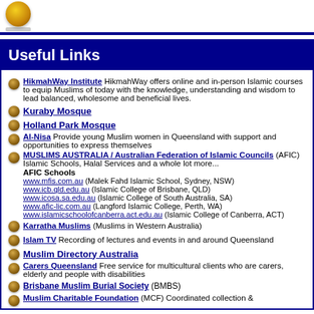[Logo icon]
Useful Links
HikmahWay Institute HikmahWay offers online and in-person Islamic courses to equip Muslims of today with the knowledge, understanding and wisdom to lead balanced, wholesome and beneficial lives.
Kuraby Mosque
Holland Park Mosque
Al-Nisa Provide young Muslim women in Queensland with support and opportunities to express themselves
MUSLIMS AUSTRALIA / Australian Federation of Islamic Councils (AFIC) Islamic Schools, Halal Services and a whole lot more... AFIC Schools www.mfis.com.au (Malek Fahd Islamic School, Sydney, NSW) www.icb.qld.edu.au (Islamic College of Brisbane, QLD) www.icosa.sa.edu.au (Islamic College of South Australia, SA) www.afic-lic.com.au (Langford Islamic College, Perth, WA) www.islamicschoolofcanberra.act.edu.au (Islamic College of Canberra, ACT)
Karratha Muslims (Muslims in Western Australia)
Islam TV Recording of lectures and events in and around Queensland
Muslim Directory Australia
Carers Queensland Free service for multicultural clients who are carers, elderly and people with disabilities
Brisbane Muslim Burial Society (BMBS)
Muslim Charitable Foundation (MCF) Coordinated collection &